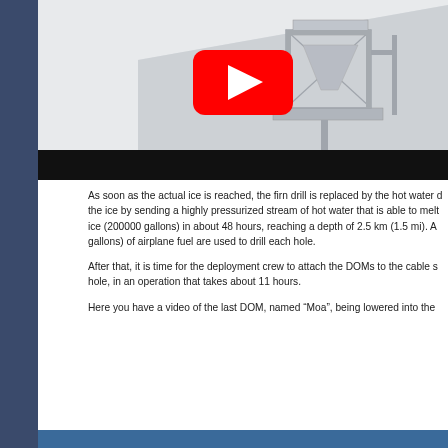[Figure (screenshot): YouTube video thumbnail showing a 3D rendering of an ice drilling machine (firn drill / hot water drill apparatus) with a metal frame structure on a white/grey background, with a red YouTube play button overlay in the center. Below the image is a black bar.]
As soon as the actual ice is reached, the firn drill is replaced by the hot water drill, which melts the ice by sending a highly pressurized stream of hot water that is able to melt through 2000 liters of ice (200000 gallons) in about 48 hours, reaching a depth of 2.5 km (1.5 mi). About 757 liters (200 gallons) of airplane fuel are used to drill each hole.
After that, it is time for the deployment crew to attach the DOMs to the cable string and drop them in the hole, in an operation that takes about 11 hours.
Here you have a video of the last DOM, named “Moa”, being lowered into the hole: